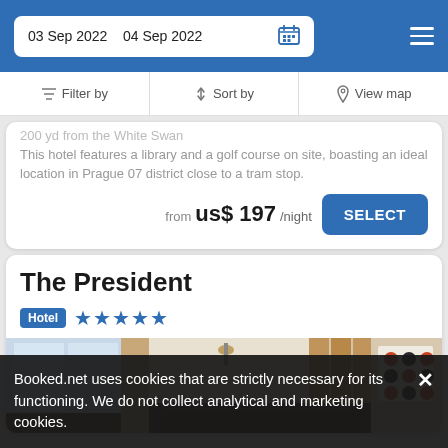03 Sep 2022  04 Sep 2022
Filter by  Sort by  View map
This hotel features a library and a golf course on site, boasting an ideal location in Prague 07 district close to a tram stop.
from  us$ 197/night  SELECT
The President
Hotel  ★★★★★
[Figure (photo): Interior of a hotel room with large windows, curtains, pendant lights, and decorative wall art]
Booked.net uses cookies that are strictly necessary for its functioning. We do not collect analytical and marketing cookies.